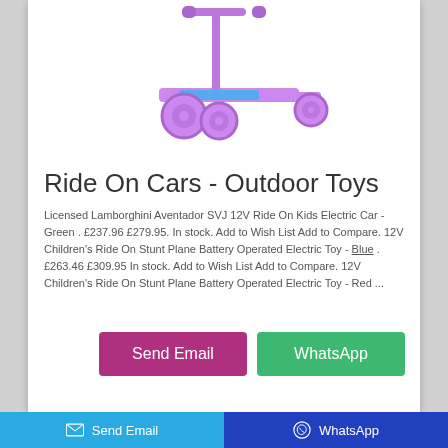[Figure (photo): Purple children's kick scooter with three wheels and Frozen/cartoon themed deck, shown against white background]
Ride On Cars - Outdoor Toys
Licensed Lamborghini Aventador SVJ 12V Ride On Kids Electric Car - Green . £237.96 £279.95. In stock. Add to Wish List Add to Compare. 12V Children's Ride On Stunt Plane Battery Operated Electric Toy - Blue . £263.46 £309.95 In stock. Add to Wish List Add to Compare. 12V Children's Ride On Stunt Plane Battery Operated Electric Toy - Red ...
Send Email | WhatsApp